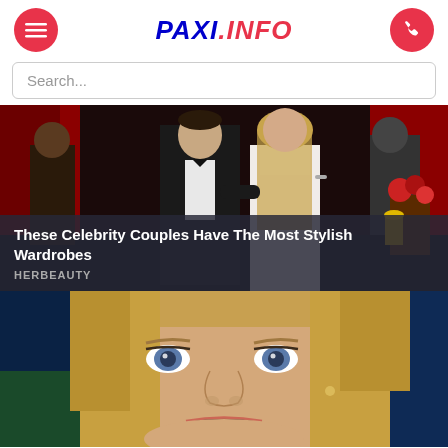PAXI.INFO
Search...
[Figure (photo): Celebrity couple at a formal event, woman in white dress, man in tuxedo, red background]
These Celebrity Couples Have The Most Stylish Wardrobes
HERBEAUTY
[Figure (photo): Close-up of a blonde woman with wide open eyes and open mouth, surprised expression]